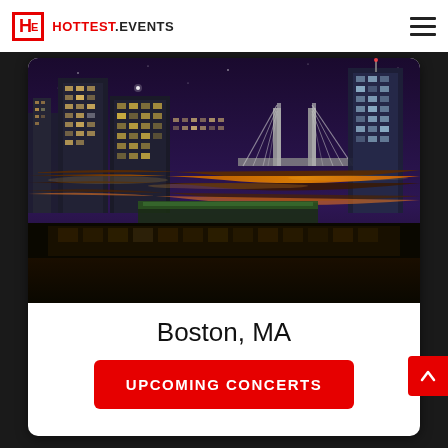HE HOTTEST.EVENTS
[Figure (photo): Boston, MA city skyline at night showing illuminated buildings, highways, and the Zakim Bridge in the background with a dark purple sky]
Boston, MA
UPCOMING CONCERTS